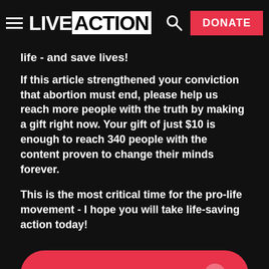LIVE ACTION | DONATE
life - and save lives!
If this article strengthened your conviction that abortion must end, please help us reach more people with the truth by making a gift right now. Your gift of just $10 is enough to reach 340 people with the content proven to change their minds forever.
This is the most critical time for the pro-life movement - I hope you will take life-saving action today!
Give now to end the killing